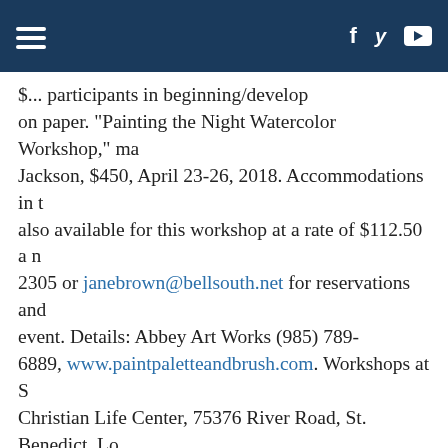[Navigation header with hamburger menu and social icons: Facebook, Twitter, YouTube]
$[...] participants in [begin/develop] painting on paper.  "Painting the Night Watercolor Workshop," ma... Jackson, $450, April 23-26, 2018. Accommodations in t... also available for this workshop at a rate of $112.50 a n... 2305 or janebrown@bellsouth.net for reservations and event. Details: Abbey Art Works (985) 789-6889, www.paintpaletteandbrush.com. Workshops at S... Christian Life Center, 75376 River Road, St. Benedict, Lo...
SCHOOLS
ST. ANN CATHOLIC SCHOOL, walk-thru tours for prosp... 22, 25, 29 and every Monday and Thursday morning sch... school office, 4921 Meadowdale St., Metairie. Men's Clu... p.m., cafeteria.  Home and School Association hosts Ch... students in pre-K4, kindergarten and first grade, Jan. 19...